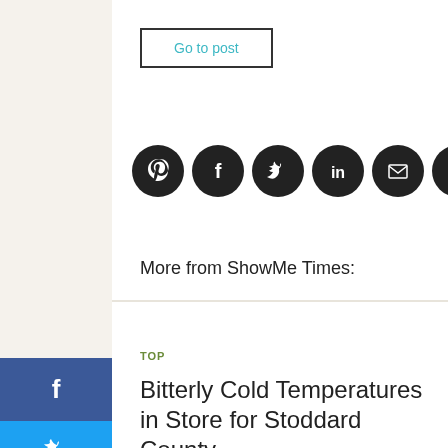Go to post
[Figure (infographic): Row of 6 dark circular social media share icons: Pinterest, Facebook, Twitter, LinkedIn, Email, PDF/document]
More from ShowMe Times:
TOP
Bitterly Cold Temperatures in Store for Stoddard County